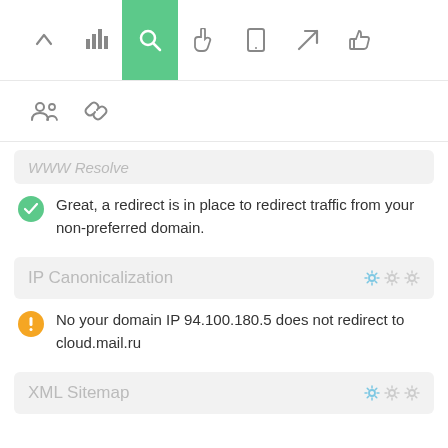[Figure (screenshot): Navigation toolbar with icons: up arrow, bar chart, search (active/highlighted green), pointer, mobile, rocket, thumbs up]
[Figure (screenshot): Secondary toolbar with group/people icon and chain/link icon]
WWW Resolve
Great, a redirect is in place to redirect traffic from your non-preferred domain.
IP Canonicalization
No your domain IP 94.100.180.5 does not redirect to cloud.mail.ru
XML Sitemap